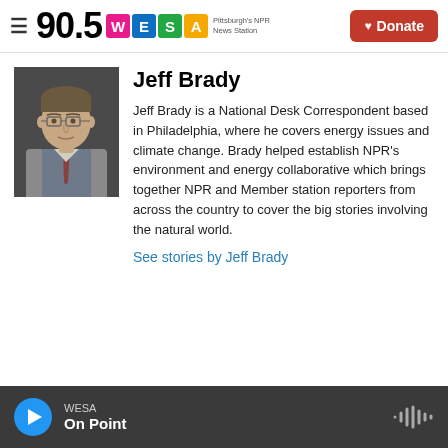90.5 WESA Pittsburgh's NPR News Station | Donate
[Figure (photo): Headshot photo of Jeff Brady, a man with glasses, brown hair, wearing a grey suit and tie]
Jeff Brady
Jeff Brady is a National Desk Correspondent based in Philadelphia, where he covers energy issues and climate change. Brady helped establish NPR's environment and energy collaborative which brings together NPR and Member station reporters from across the country to cover the big stories involving the natural world.
See stories by Jeff Brady
WESA On Point